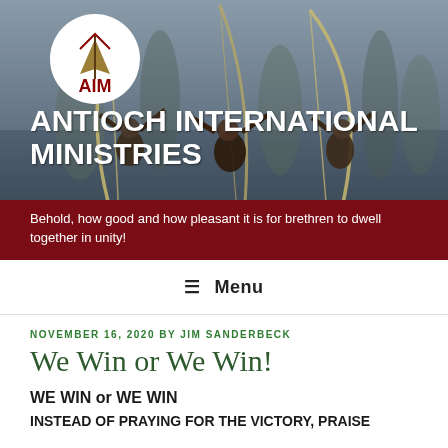[Figure (photo): Header image showing warriors holding bows raised upward against a misty background, with AIM logo circle overlay and organization name and tagline overlaid on a dark red bar]
☰  Menu
NOVEMBER 16, 2020 BY JIM SANDERBECK
We Win or We Win!
WE WIN or WE WIN
INSTEAD OF PRAYING FOR THE VICTORY, PRAISE